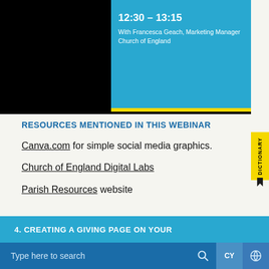[Figure (screenshot): Top portion of a webinar slide showing time 12:30–13:15 with presenter Francesca Geach, Marketing Manager, Church of England, on a blue background with black border]
RESOURCES MENTIONED IN THIS WEBINAR
Canva.com for simple social media graphics.
Church of England Digital Labs
Parish Resources website
4. CREATING A GIVING PAGE ON YOUR
Type here to search